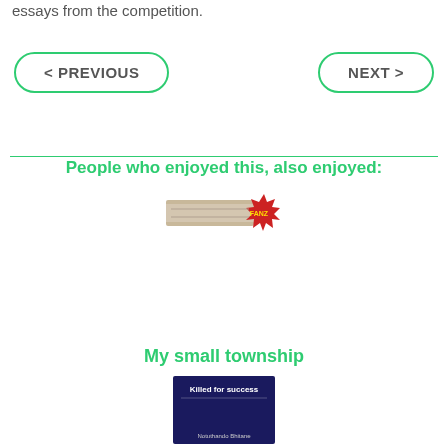essays from the competition.
< PREVIOUS
NEXT >
People who enjoyed this, also enjoyed:
[Figure (logo): FANZ logo/banner image with red starburst badge]
My small township
[Figure (illustration): Book cover: 'Killed for success' by Notuthando Bhitane, dark blue/purple background]